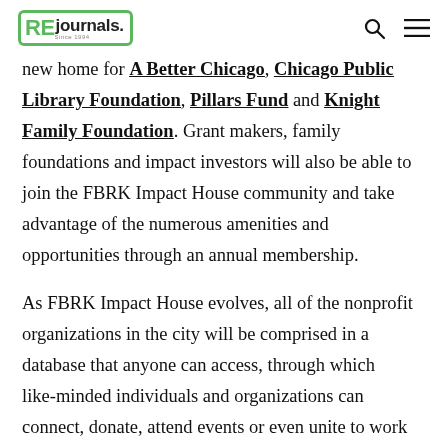RE journals
new home for A Better Chicago, Chicago Public Library Foundation, Pillars Fund and Knight Family Foundation. Grant makers, family foundations and impact investors will also be able to join the FBRK Impact House community and take advantage of the numerous amenities and opportunities through an annual membership.
As FBRK Impact House evolves, all of the nonprofit organizations in the city will be comprised in a database that anyone can access, through which like-minded individuals and organizations can connect, donate, attend events or even unite to work together on a particular front. As a philanthropy incubator, FBRK Impact House will